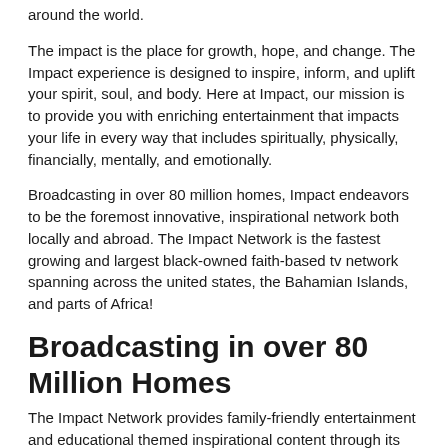around the world.
The impact is the place for growth, hope, and change. The Impact experience is designed to inspire, inform, and uplift your spirit, soul, and body. Here at Impact, our mission is to provide you with enriching entertainment that impacts your life in every way that includes spiritually, physically, financially, mentally, and emotionally.
Broadcasting in over 80 million homes, Impact endeavors to be the foremost innovative, inspirational network both locally and abroad. The Impact Network is the fastest growing and largest black-owned faith-based tv network spanning across the united states, the Bahamian Islands, and parts of Africa!
Broadcasting in over 80 Million Homes
The Impact Network provides family-friendly entertainment and educational themed inspirational content through its